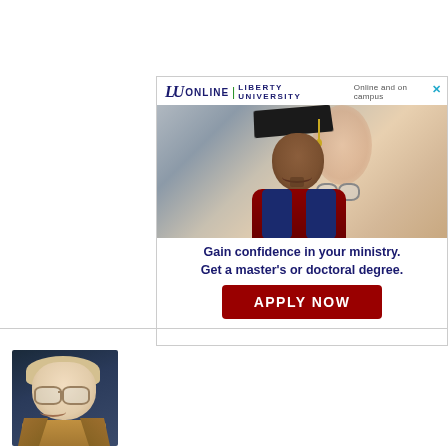[Figure (advertisement): Liberty University Online advertisement featuring a graduating student in cap and gown with glasses and a red academic hood. Header shows LU ONLINE | LIBERTY UNIVERSITY logo with 'Online and on campus' tagline. Body text reads 'Gain confidence in your ministry. Get a master's or doctoral degree.' with a red APPLY NOW button.]
[Figure (photo): Headshot photo of a middle-aged man with blonde/grey hair, glasses, and a warm smile, wearing a brown jacket. Dark blue background.]